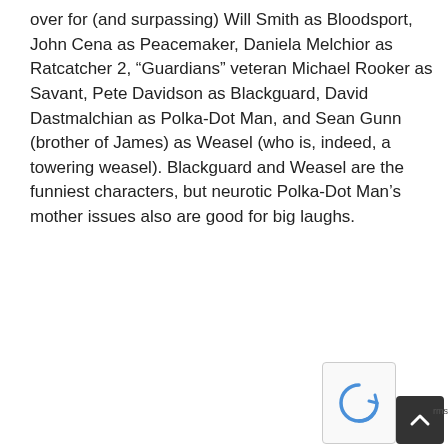over for (and surpassing) Will Smith as Bloodsport, John Cena as Peacemaker, Daniela Melchior as Ratcatcher 2, “Guardians” veteran Michael Rooker as Savant, Pete Davidson as Blackguard, David Dastmalchian as Polka-Dot Man, and Sean Gunn (brother of James) as Weasel (who is, indeed, a towering weasel). Blackguard and Weasel are the funniest characters, but neurotic Polka-Dot Man’s mother issues also are good for big laughs.